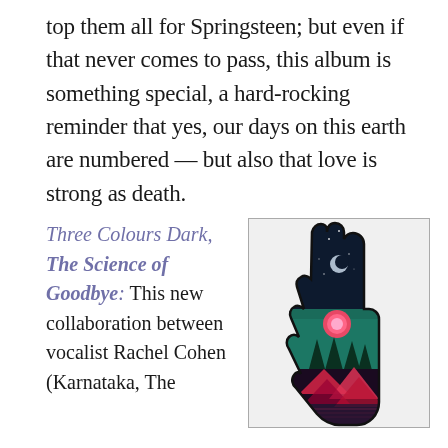top them all for Springsteen; but even if that never comes to pass, this album is something special, a hard-rocking reminder that yes, our days on this earth are numbered — but also that love is strong as death.
Three Colours Dark, The Science of Goodbye: This new collaboration between vocalist Rachel Cohen (Karnataka, The
[Figure (illustration): Album cover art showing a dark silhouette of a raised human hand and arm against a mystical background with cosmic/nature imagery including stars, a moon crescent, a pink/red glowing orb, teal forest, and vivid red/pink mountain reflections on water.]